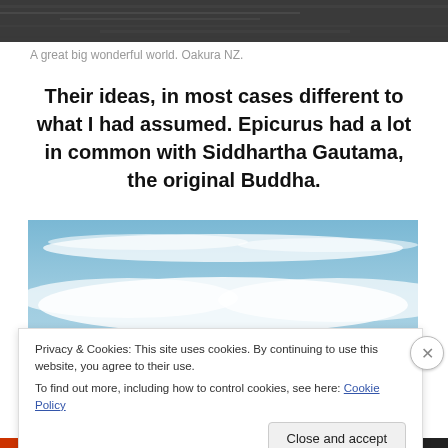[Figure (photo): Dark grayscale texture image, appearing to show water or sand surface, cropped at top of page]
A great big wonderful world. Oakura NZ.
Their ideas, in most cases different to what I had assumed. Epicurus had a lot in common with Siddhartha Gautama, the original Buddha.
[Figure (photo): Blue sky with wispy white clouds, wide panoramic view]
Privacy & Cookies: This site uses cookies. By continuing to use this website, you agree to their use.
To find out more, including how to control cookies, see here: Cookie Policy
Close and accept